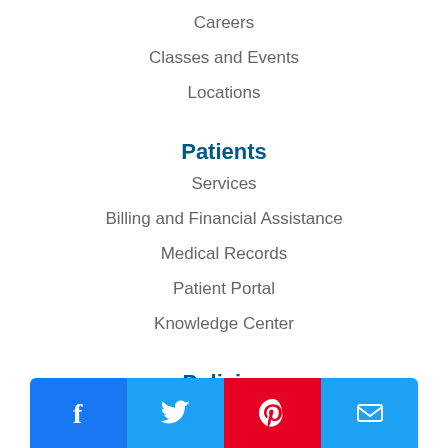Careers
Classes and Events
Locations
Patients
Services
Billing and Financial Assistance
Medical Records
Patient Portal
Knowledge Center
Policies
Patient Rights
Privacy Notice
Vendor Compliance